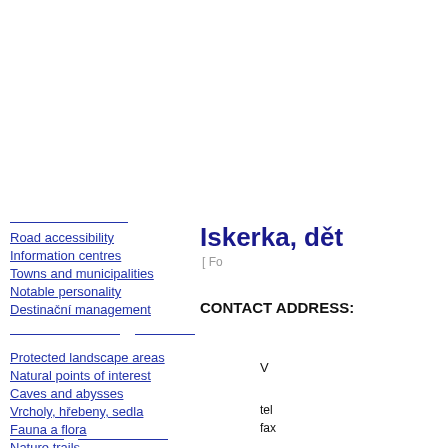Road accessibility
Information centres
Towns and municipalities
Notable personality
Destinační management
Protected landscape areas
Natural points of interest
Caves and abysses
Vrcholy, hřebeny, sedla
Fauna a flora
Nature trails
Culture and entertainment
Iskerka, dět
[ Fo
CONTACT ADDRESS:
V
tel
fax